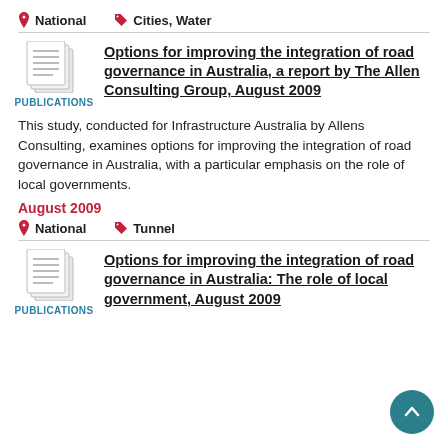National   Cities, Water
[Figure (illustration): Document/publications icon with stacked pages]
PUBLICATIONS
Options for improving the integration of road governance in Australia, a report by The Allen Consulting Group, August 2009
This study, conducted for Infrastructure Australia by Allens Consulting, examines options for improving the integration of road governance in Australia, with a particular emphasis on the role of local governments.
August 2009
National   Tunnel
[Figure (illustration): Document/publications icon with stacked pages]
PUBLICATIONS
Options for improving the integration of road governance in Australia: The role of local government, August 2009